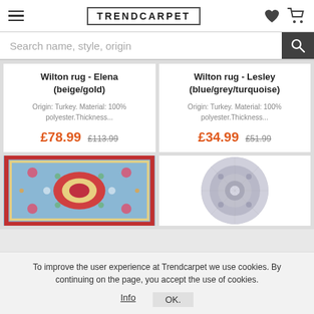TRENDCARPET
Search name, style, origin
Wilton rug - Elena (beige/gold)
Origin: Turkey. Material: 100% polyester.Thickness...
£78.99  £113.99
Wilton rug - Lesley (blue/grey/turquoise)
Origin: Turkey. Material: 100% polyester.Thickness...
£34.99  £51.99
[Figure (photo): Partial view of a multicoloured rectangular rug with ornate floral/medallion patterns in blue, red, and cream tones]
[Figure (photo): Partial view of a round rug in grey/silver tones with ornate medallion pattern]
To improve the user experience at Trendcarpet we use cookies. By continuing on the page, you accept the use of cookies.
Info    OK.